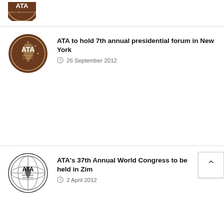[Figure (logo): ATA Africa Travel Association circular brown logo, partially visible at top]
[Figure (logo): ATA Africa Travel Association circular brown logo]
ATA to hold 7th annual presidential forum in New York
26 September 2012
[Figure (logo): ATA Africa Travel Association black and white logo]
ATA's 37th Annual World Congress to be held in Zim
2 April 2012